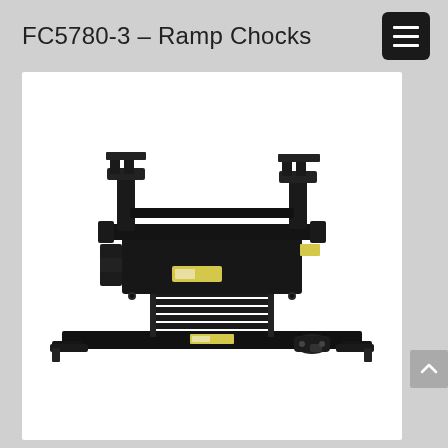FC5780-3 – Ramp Chocks
[Figure (photo): FC5780-3 Ramp Chocks mechanical device — a black heavy-duty industrial ramp chock assembly shown in a 3/4 isometric view. The device features a scissor-lift or accordion-style mechanism in the center, with mounting brackets and attachment hardware on the top and sides, and a wide flat base frame. Yellow warning labels are visible on the body. The unit is entirely painted black.]